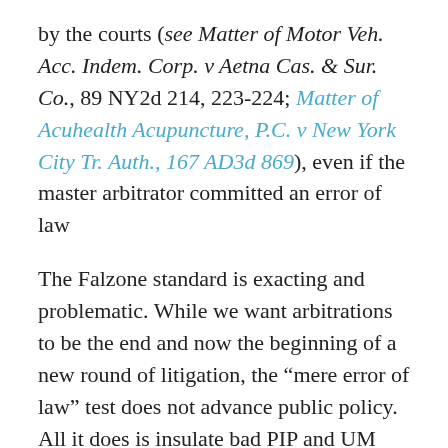by the courts (see Matter of Motor Veh. Acc. Indem. Corp. v Aetna Cas. & Sur. Co., 89 NY2d 214, 223-224; Matter of Acuhealth Acupuncture, P.C. v New York City Tr. Auth., 167 AD3d 869), even if the master arbitrator committed an error of law
The Falzone standard is exacting and problematic. While we want arbitrations to be the end and now the beginning of a new round of litigation, the “mere error of law” test does not advance public policy. All it does is insulate bad PIP and UM arbitration decisions from further review. Real people get hurt when arbitrators make up the law as they go along.